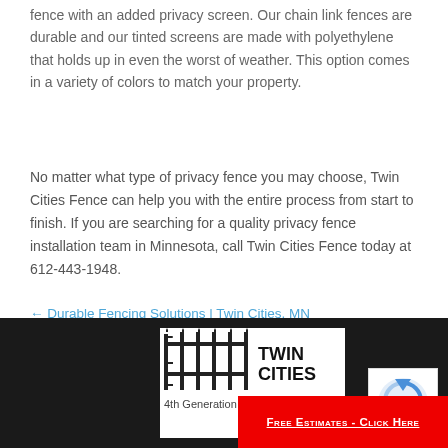fence with an added privacy screen. Our chain link fences are durable and our tinted screens are made with polyethylene that holds up in even the worst of weather. This option comes in a variety of colors to match your property.
No matter what type of privacy fence you may choose, Twin Cities Fence can help you with the entire process from start to finish. If you are searching for a quality privacy fence installation team in Minnesota, call Twin Cities Fence today at 612-443-1948.
← Durable Fencing Solutions | Twin Cities, MN
Indoor Fence Installation in Twin Cities →
[Figure (logo): Twin Cities Fence logo with fence graphic and text '4th Generation Builders']
[Figure (logo): reCAPTCHA logo]
Free Estimates - Click Here